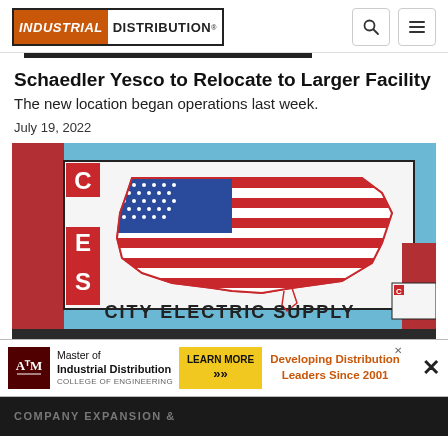INDUSTRIAL DISTRIBUTION
Schaedler Yesco to Relocate to Larger Facility
The new location began operations last week.
July 19, 2022
[Figure (photo): City Electric Supply building sign featuring a US flag shaped as a map of the United States, with the letters C, E, S on the left side.]
[Figure (infographic): Advertisement banner for Texas A&M Master of Industrial Distribution program, College of Engineering, with 'Learn More' button and text 'Developing Distribution Leaders Since 2001']